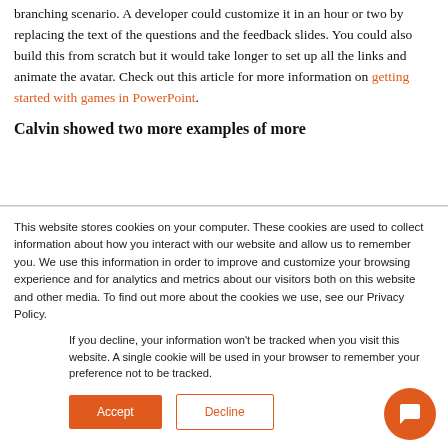branching scenario. A developer could customize it in an hour or two by replacing the text of the questions and the feedback slides. You could also build this from scratch but it would take longer to set up all the links and animate the avatar. Check out this article for more information on getting started with games in PowerPoint.
Calvin showed two more examples of more
This website stores cookies on your computer. These cookies are used to collect information about how you interact with our website and allow us to remember you. We use this information in order to improve and customize your browsing experience and for analytics and metrics about our visitors both on this website and other media. To find out more about the cookies we use, see our Privacy Policy.
If you decline, your information won't be tracked when you visit this website. A single cookie will be used in your browser to remember your preference not to be tracked.